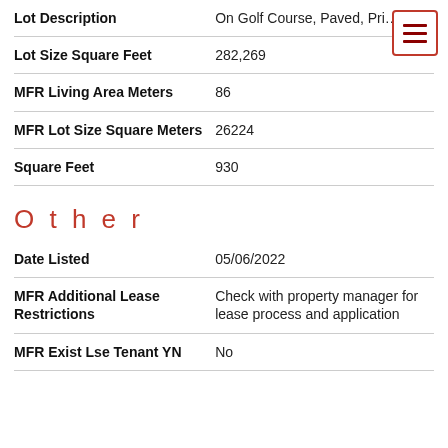| Field | Value |
| --- | --- |
| Lot Description | On Golf Course, Paved, Pri… |
| Lot Size Square Feet | 282,269 |
| MFR Living Area Meters | 86 |
| MFR Lot Size Square Meters | 26224 |
| Square Feet | 930 |
Other
| Field | Value |
| --- | --- |
| Date Listed | 05/06/2022 |
| MFR Additional Lease Restrictions | Check with property manager for lease process and application |
| MFR Exist Lse Tenant YN | No |